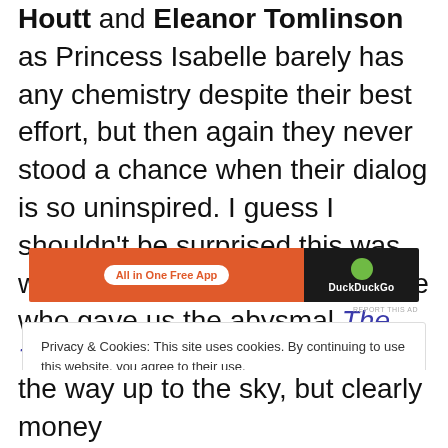Houtt and Eleanor Tomlinson as Princess Isabelle barely has any chemistry despite their best effort, but then again they never stood a chance when their dialog is so uninspired. I guess I shouldn't be surprised this was written by Christopher McQuarrie who gave us the abysmal The Tourist!!
[Figure (other): Advertisement banner: orange section with 'All in One Free App' button, dark section with DuckDuckGo logo]
Privacy & Cookies: This site uses cookies. By continuing to use this website, you agree to their use.
To find out more, including how to control cookies, see here: Cookie Policy
Close and accept
the way up to the sky, but clearly money